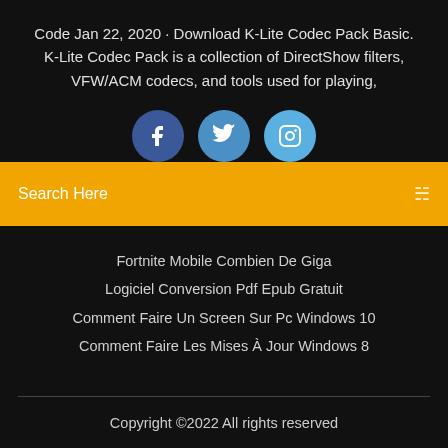Code Jan 22, 2020 · Download K-Lite Codec Pack Basic. K-Lite Codec Pack is a collection of DirectShow filters, VFW/ACM codecs, and tools used for playing,
[Figure (illustration): Three social media icon circles: Facebook (dark blue), Twitter (medium blue), Instagram (light blue), partially visible at bottom]
Search Here
Fortnite Mobile Combien De Giga
Logiciel Conversion Pdf Epub Gratuit
Comment Faire Un Screen Sur Pc Windows 10
Comment Faire Les Mises À Jour Windows 8
Copyright ©2022 All rights reserved